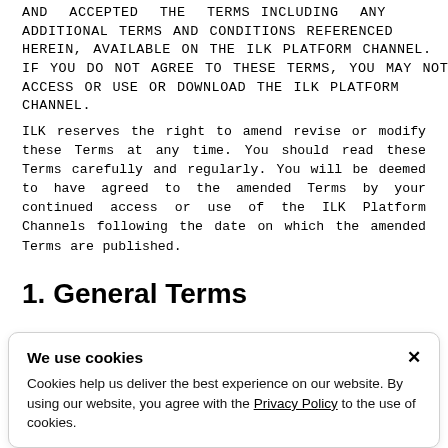AND ACCEPTED THE TERMS INCLUDING ANY ADDITIONAL TERMS AND CONDITIONS REFERENCED HEREIN, AVAILABLE ON THE ILK PLATFORM CHANNEL. IF YOU DO NOT AGREE TO THESE TERMS, YOU MAY NOT ACCESS OR USE OR DOWNLOAD THE ILK PLATFORM CHANNEL.
ILK reserves the right to amend revise or modify these Terms at any time. You should read these Terms carefully and regularly. You will be deemed to have agreed to the amended Terms by your continued access or use of the ILK Platform Channels following the date on which the amended Terms are published.
1. General Terms
We use cookies
Cookies help us deliver the best experience on our website. By using our website, you agree with the Privacy Policy to the use of cookies.